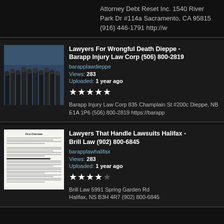Attorney Debt Reset Inc. 1540 River Park Dr #114a Sacramento, CA 95815 (916) 446-1791 http://w
Lawyers For Wrongful Death Dieppe - Barapp Injury Law Corp (506) 800-2819
barapplawdieppe
Views: 283
Uploaded: 1 year ago
★★★★★
Barapp Injury Law Corp 835 Champlain St #200c Dieppe, NB E1A 1P6 (506) 800-2819 https://barapp
Lawyers That Handle Lawsuits Halifax - Brill Law (902) 800-6845
barapplawhalifax
Views: 283
Uploaded: 1 year ago
★★★★☆
Brill Law 5991 Spring Garden Rd Halifax, NS B3H 4R7 (902) 800-6845